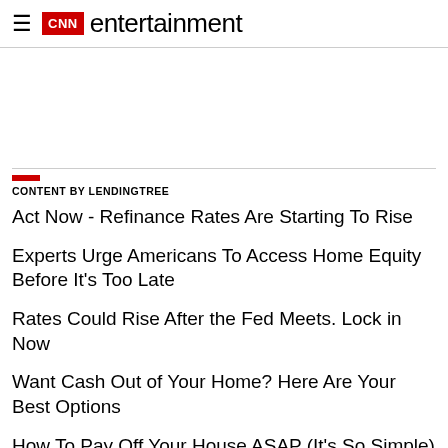CNN entertainment
CONTENT BY LENDINGTREE
Act Now - Refinance Rates Are Starting To Rise
Experts Urge Americans To Access Home Equity Before It's Too Late
Rates Could Rise After the Fed Meets. Lock in Now
Want Cash Out of Your Home? Here Are Your Best Options
How To Pay Off Your House ASAP (It's So Simple)